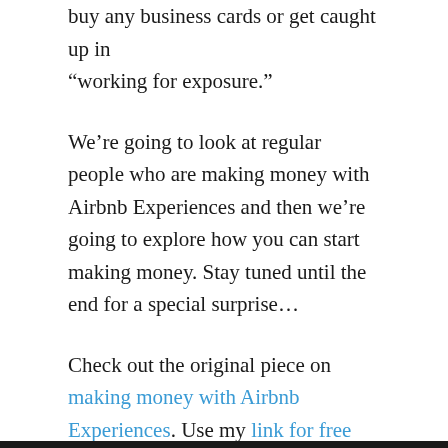buy any business cards or get caught up in “working for exposure.”
We’re going to look at regular people who are making money with Airbnb Experiences and then we’re going to explore how you can start making money. Stay tuned until the end for a special surprise…
Check out the original piece on making money with Airbnb Experiences. Use my link for free money to test out an experience near you. Then check out the video below…